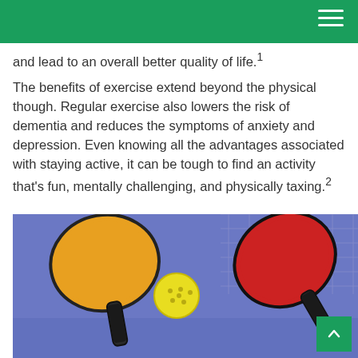and lead to an overall better quality of life.¹
The benefits of exercise extend beyond the physical though. Regular exercise also lowers the risk of dementia and reduces the symptoms of anxiety and depression. Even knowing all the advantages associated with staying active, it can be tough to find an activity that's fun, mentally challenging, and physically taxing.²
[Figure (photo): Two pickleball paddles (one orange, one red) and a yellow wiffle-style ball resting on a blue court surface, with a net grid visible in the background.]